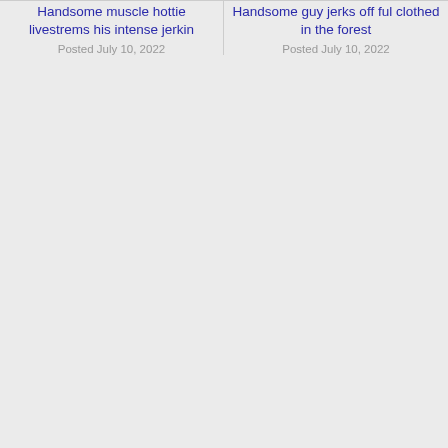Handsome muscle hottie livestrems his intense jerkin
Posted July 10, 2022
Handsome guy jerks off ful clothed in the forest
Posted July 10, 2022